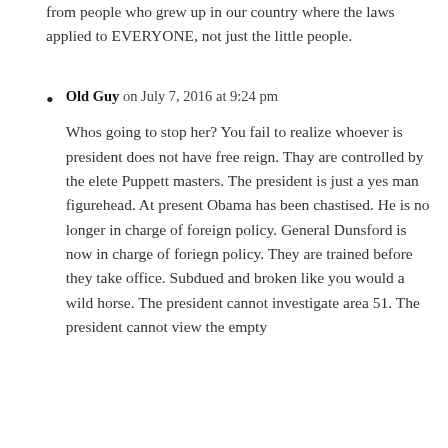from people who grew up in our country where the laws applied to EVERYONE, not just the little people.
Old Guy on July 7, 2016 at 9:24 pm
Whos going to stop her? You fail to realize whoever is president does not have free reign. Thay are controlled by the elete Puppett masters. The president is just a yes man figurehead. At present Obama has been chastised. He is no longer in charge of foreign policy. General Dunsford is now in charge of foriegn policy. They are trained before they take office. Subdued and broken like you would a wild horse. The president cannot investigate area 51. The president cannot view the empty